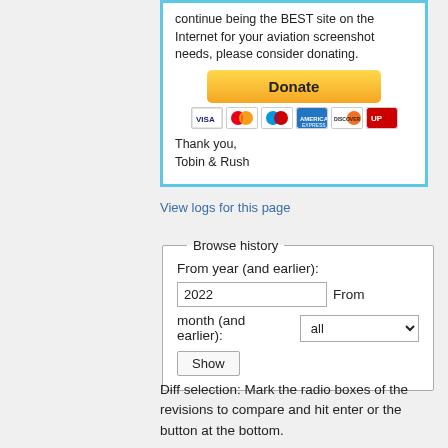[Figure (other): Donate box with PayPal button and credit card icons, text: 'continue being the BEST site on the Internet for your aviation screenshot needs, please consider donating.' and 'Thank you, Tobin & Rush']
View logs for this page
Browse history
From year (and earlier):
2022  From month (and earlier): all
Show
Diff selection: Mark the radio boxes of the revisions to compare and hit enter or the button at the bottom.